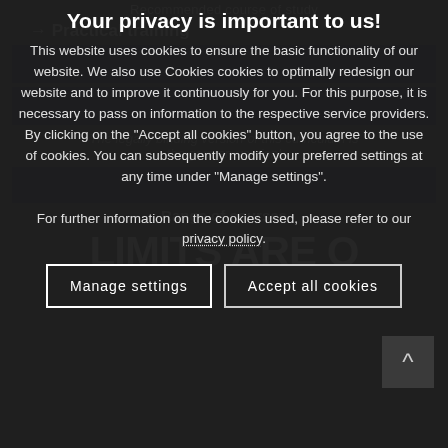Your privacy is important to us!
This website uses cookies to ensure the basic functionality of our website. We also use Cookies cookies to optimally redesign our website and to improve it continuously for you. For this purpose, it is necessary to pass on information to the respective service providers. By clicking on the "Accept all cookies" button, you agree to the use of cookies. You can subsequently modify your preferred settings at any time under "Manage settings". For further information on the cookies used, please refer to our privacy policy.
Manage settings
Accept all cookies